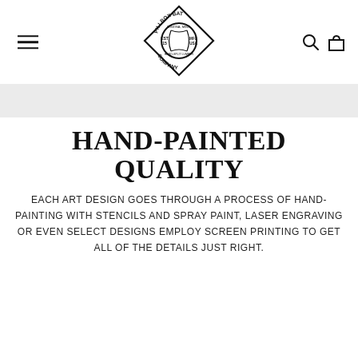Pillbox Bat Company
HAND-PAINTED QUALITY
EACH ART DESIGN GOES THROUGH A PROCESS OF HAND-PAINTING WITH STENCILS AND SPRAY PAINT, LASER ENGRAVING OR EVEN SELECT DESIGNS EMPLOY SCREEN PRINTING TO GET ALL OF THE DETAILS JUST RIGHT.